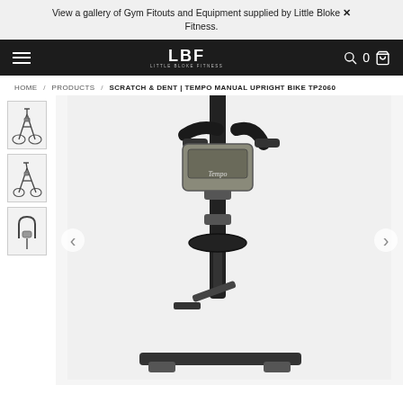View a gallery of Gym Fitouts and Equipment supplied by Little Bloke X Fitness.
[Figure (screenshot): Little Bloke Fitness (LBF) e-commerce website navigation bar with hamburger menu, LBF logo, search icon, cart count 0, and cart icon on dark background]
HOME / PRODUCTS / SCRATCH & DENT | TEMPO MANUAL UPRIGHT BIKE TP2060
[Figure (photo): Product page showing Tempo Manual Upright Bike TP2060 with three thumbnail images on the left (full bike view x2, handlebars close-up) and a large main product photo showing a close-up of the upright exercise bike handlebar and frame with Tempo branding, with left and right navigation arrows]